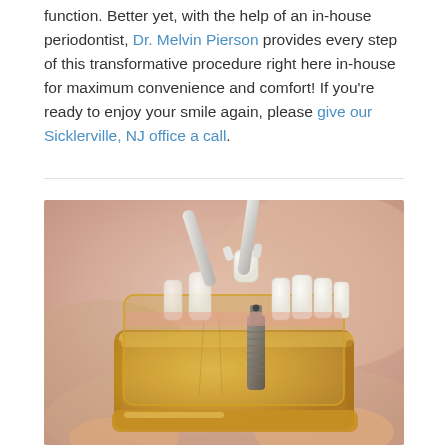function. Better yet, with the help of an in-house periodontist, Dr. Melvin Pierson provides every step of this transformative procedure right here in-house for maximum convenience and comfort! If you're ready to enjoy your smile again, please give our Sicklerville, NJ office a call.
[Figure (photo): A dental professional holding tweezers placing a dental crown onto a transparent dental implant model showing teeth and implant screw, held in hand against a blurred background.]